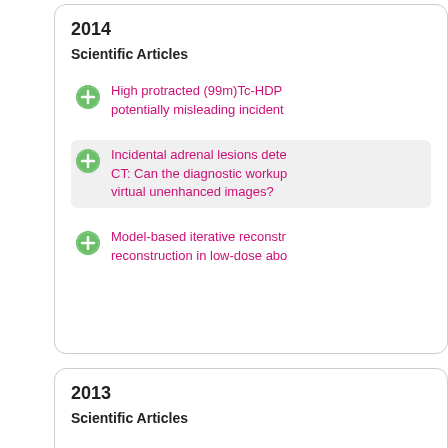2014
Scientific Articles
High protracted (99m)Tc-HDP potentially misleading incident
Incidental adrenal lesions detected CT: Can the diagnostic workup virtual unenhanced images?
Model-based iterative reconstruction in low-dose abo
2013
Scientific Articles
Computed tomography of the reconstruction using a radiation examination: preliminary obse